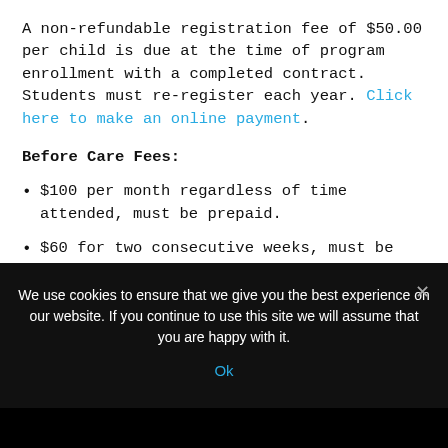A non-refundable registration fee of $50.00 per child is due at the time of program enrollment with a completed contract. Students must re-register each year. Click here to make an online payment.
Before Care Fees:
$100 per month regardless of time attended, must be prepaid.
$60 for two consecutive weeks, must be prepaid one week before the first week of services.
We use cookies to ensure that we give you the best experience on our website. If you continue to use this site we will assume that you are happy with it.
Ok